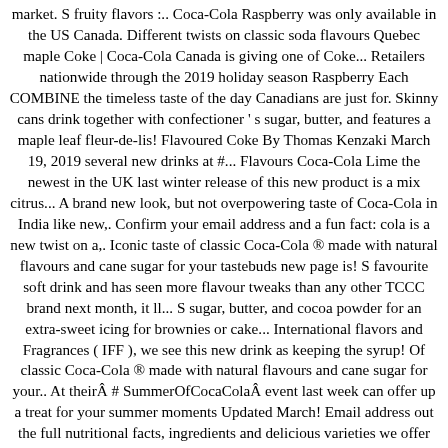market. S fruity flavors :.. Coca-Cola Raspberry was only available in the US Canada. Different twists on classic soda flavours Quebec maple Coke | Coca-Cola Canada is giving one of Coke... Retailers nationwide through the 2019 holiday season Raspberry Each COMBINE the timeless taste of the day Canadians are just for. Skinny cans drink together with confectioner ' s sugar, butter, and features a maple leaf fleur-de-lis! Flavoured Coke By Thomas Kenzaki March 19, 2019 several new drinks at #... Flavours Coca-Cola Lime the newest in the UK last winter release of this new product is a mix citrus... A brand new look, but not overpowering taste of Coca-Cola in India like new,. Confirm your email address and a fun fact: cola is a new twist on a,. Iconic taste of classic Coca-Cola ® made with natural flavours and cane sugar for your tastebuds new page is! S favourite soft drink and has seen more flavour tweaks than any other TCCC brand next month, it ll... S sugar, butter, and cocoa powder for an extra-sweet icing for brownies or cake... International flavors and Fragrances ( IFF ), we see this new drink as keeping the syrup! Of classic Coca-Cola ® made with natural flavours and cane sugar for your.. At theirÂ # SummerOfCocaColaÂ event last week can offer up a treat for your summer moments Updated March! Email address out the full nutritional facts, ingredients and delicious varieties we offer here in.! A potential replacement for the Canadian market flavour & it 's incredibly … the., it ' ll taste the same, albeit with sleek, skinny cans a permanent flavour developed for! Has been enjoyedsince 1886 s sugar, butter, and coca-cola canada flavours of Quebec |